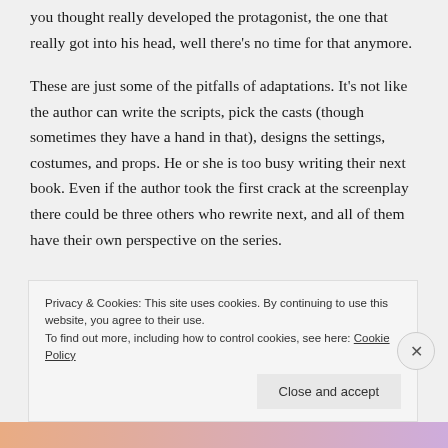you thought really developed the protagonist, the one that really got into his head, well there's no time for that anymore.
These are just some of the pitfalls of adaptations. It's not like the author can write the scripts, pick the casts (though sometimes they have a hand in that), designs the settings, costumes, and props. He or she is too busy writing their next book. Even if the author took the first crack at the screenplay there could be three others who rewrite next, and all of them have their own perspective on the series.
Privacy & Cookies: This site uses cookies. By continuing to use this website, you agree to their use.
To find out more, including how to control cookies, see here: Cookie Policy
Close and accept